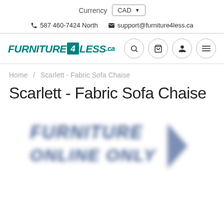Currency CAD
587 460-7424 North  support@furniture4less.ca
[Figure (logo): Furniture4Less.ca logo with teal color scheme]
Home / Scarlett - Fabric Sofa Chaise
Scarlett - Fabric Sofa Chaise
[Figure (photo): Blurred product image with Furniture4Less Online Only watermark overlay]